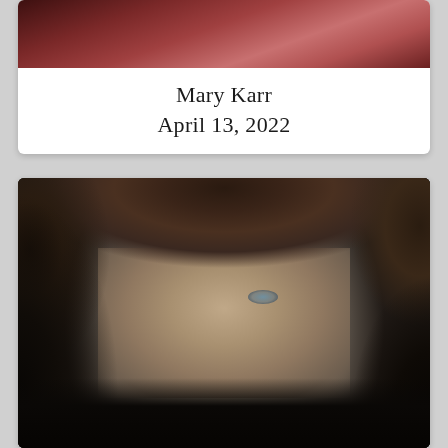[Figure (photo): Partial view of a person (Mary Karr) - cropped photo showing top portion, with dark reddish-brown tones]
Mary Karr
April 13, 2022
[Figure (photo): Portrait photo of a man with curly dark brown hair, blue-green eyes, light skin, wearing a dark shirt, looking at camera with slight smile]